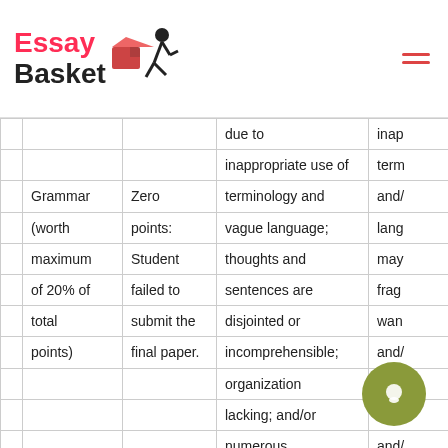Essay Basket
|  |  |  | due to | inap |
| --- | --- | --- | --- | --- |
|  |  |  | inappropriate use of | term |
| Grammar | Zero | terminology and | and/ |
| (worth | points: | vague language; | lang |
| maximum | Student | thoughts and | may |
| of 20% of | failed to | sentences are | frag |
| total | submit the | disjointed or | wan |
| points) | final paper. | incomprehensible; | and/ |
|  |  | organization | poor |
|  |  | lacking; and/or | orga |
|  |  | numerous | and/ |
|  |  | grammatical, | gram |
|  |  | spelling/punctuation | spel |